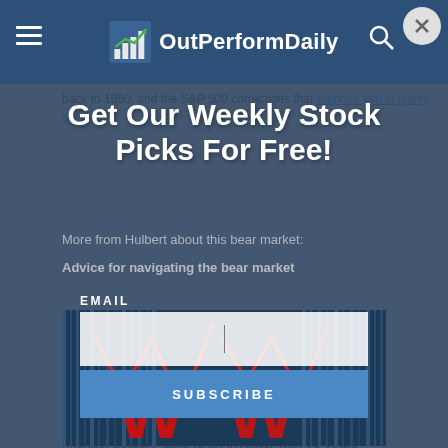OutPerformDaily
back to 1950, and the S&P 500 corrections that surprise you in going away
More from Hulbert about this bear market:
Advice for navigating the bear market
Get Our Weekly Stock Picks For Free!
EMAIL
[Figure (screenshot): Email subscription input box with cursor]
[Figure (screenshot): SUBSCRIBE button in blue]
[Figure (photo): Stock market photo illustration with red W-shaped chart lines and building reflections]
MarketWatch photo illustration/iStockphoto
Michael Sincere talks to an investor with 70 years